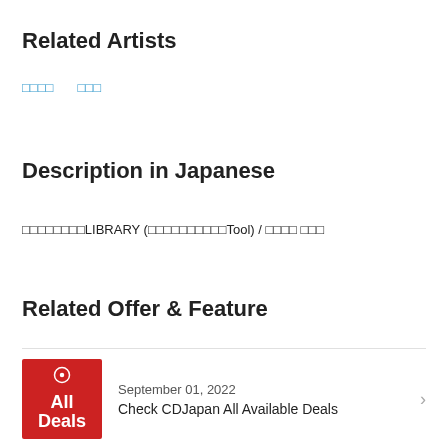Related Artists
□□□□　□□□
Description in Japanese
□□□□□□□□LIBRARY (□□□□□□□□□□Tool) / □□□□ □□□
Related Offer & Feature
September 01, 2022
Check CDJapan All Available Deals